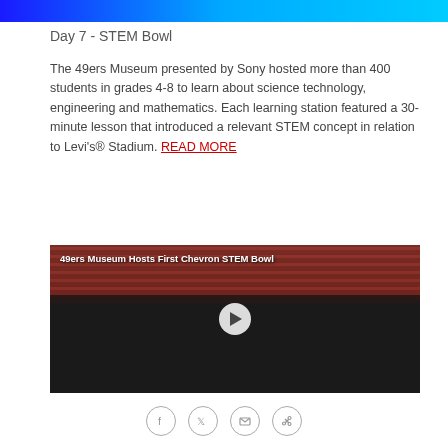[Figure (other): Top blue gradient banner strip]
Day 7 - STEM Bowl
The 49ers Museum presented by Sony hosted more than 400 students in grades 4-8 to learn about science technology, engineering and mathematics. Each learning station featured a 30-minute lesson that introduced a relevant STEM concept in relation to Levi's® Stadium. READ MORE
[Figure (photo): Video thumbnail showing students at the 49ers STEM Bowl event at Levi's Stadium, with title text '49ers Museum Hosts First Chevron STEM Bowl' and a play button overlay]
[Figure (other): Social media sharing icons row: Facebook, Twitter, Email, Link]